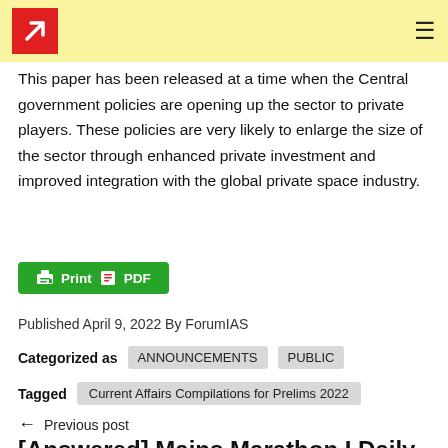ForumIAS logo and hamburger menu
This paper has been released at a time when the Central government policies are opening up the sector to private players. These policies are very likely to enlarge the size of the sector through enhanced private investment and improved integration with the global private space industry.
[Figure (other): Green Print PDF button]
Published April 9, 2022 By ForumIAS
Categorized as ANNOUNCEMENTS PUBLIC
Tagged Current Affairs Compilations for Prelims 2022
← Previous post
[Answered] Mains Marathon I Daily Answer Writing I Apr 8th, 2022